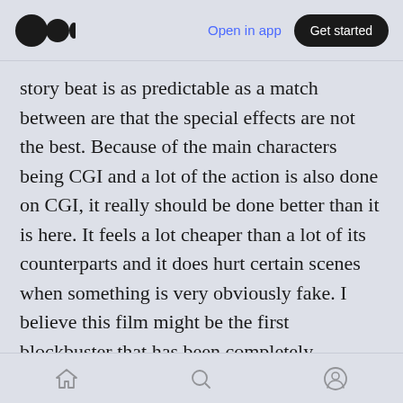Open in app | Get started
story beat is as predictable as a match between are that the special effects are not the best. Because of the main characters being CGI and a lot of the action is also done on CGI, it really should be done better than it is here. It feels a lot cheaper than a lot of its counterparts and it does hurt certain scenes when something is very obviously fake. I believe this film might be the first blockbuster that has been completely produced during the pandemic. As in, the initial work on it started during the pandemic, all of its funding and budget hence was decided during